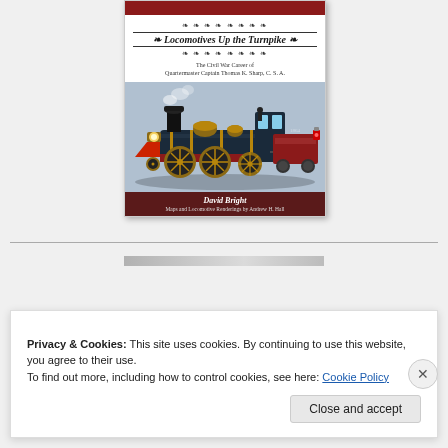[Figure (illustration): Book cover of 'Locomotives Up the Turnpike: The Civil War Career of Quartermaster Captain Thomas K. Sharp, C.S.A.' by David Bright, with Maps and Locomotive Renderings by Andrew H. Hall. The cover features a decorative title in italic serif font with ornamental borders, and a color illustration of a Civil War era steam locomotive on a grey-blue background. The bottom bar is dark red with the author's name.]
Privacy & Cookies: This site uses cookies. By continuing to use this website, you agree to their use.
To find out more, including how to control cookies, see here: Cookie Policy
Close and accept